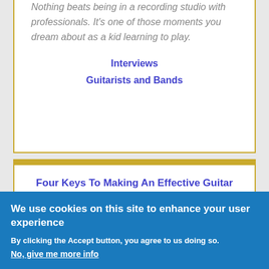Nothing beats being in a recording studio with professionals. It's one of those moments you dream about as a kid learning to play.
Interviews
Guitarists and Bands
Four Keys To Making An Effective Guitar Practice Schedule
Tom Hess
We use cookies on this site to enhance your user experience
By clicking the Accept button, you agree to us doing so.
No, give me more info